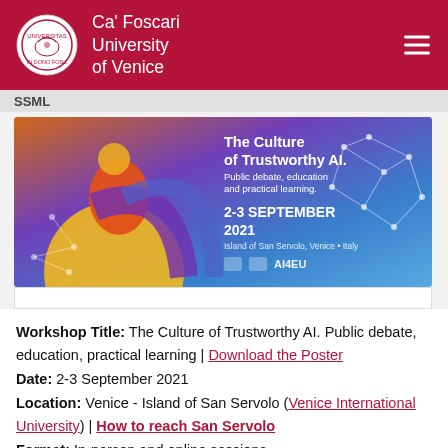Ca' Foscari University of Venice
[Figure (illustration): Event banner for 'The Culture of Trustworthy AI. Public debate, education and practical learning.' 2-3 September 2021, Island of San Servolo, Venice, Italy. Blue and orange gradient background with illustrated figure and network graphics.]
Workshop Title: The Culture of Trustworthy AI. Public debate, education, practical learning | Download the Poster
Date: 2-3 September 2021
Location: Venice - Island of San Servolo (Venice International University) | How to reach San Servolo
Format: In-person and online sessions
Registration: Send an email with your name, surname and